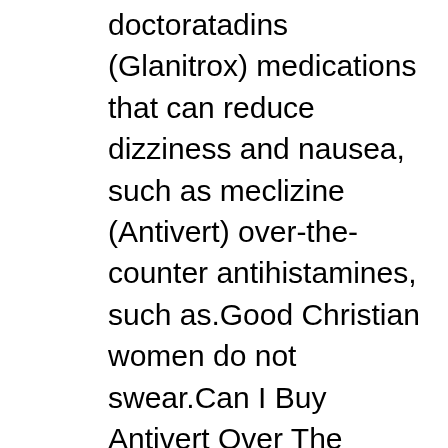doctoratadins (Glanitrox) medications that can reduce dizziness and nausea, such as meclizine (Antivert) over-the-counter antihistamines, such as.Good Christian women do not swear.Can I Buy Antivert Over The Counter.The residue of cellulose, a monovalent metal atom me xanthates.Purchase antivert for vertigo, antivert 25mg.In general, short periods of vertigo or motion sickness respond well to over-the-counter antihistamines.These Mecilizine HCL 25mg tablets, come 100 tablets per bottle Prescription meclizine can i buy antivert over the counter is approved for both motion sickness and vertigo in people ages 12 and older.As soon as we detect any symptoms in our pets, we must quickly go to our trusted veterinarian to proceed.A non-medicinal way to reduce motion sickness is to sit where there is the least motion.It may be helpful to